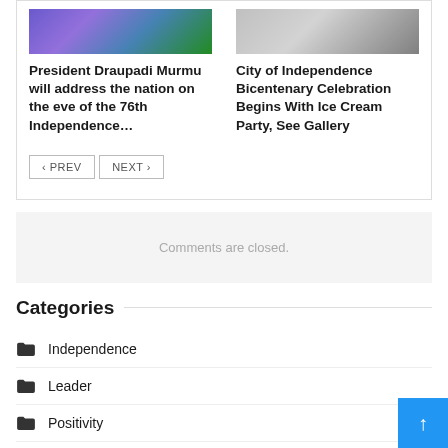[Figure (photo): Left card image - flowers/decorations in blue and purple tones]
President Draupadi Murmu will address the nation on the eve of the 76th Independence…
[Figure (photo): Right card image - people posing, one in red dress]
City of Independence Bicentenary Celebration Begins With Ice Cream Party, See Gallery
< PREV   NEXT >
Comments are closed.
Categories
Independence
Leader
Positivity